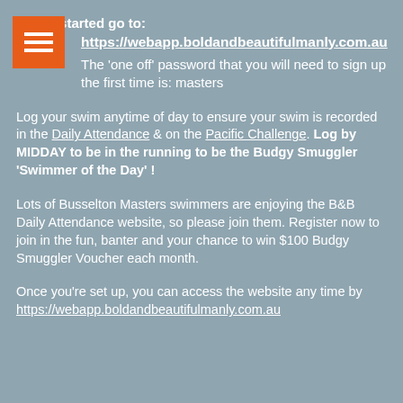To get started go to:
https://webapp.boldandbeautifulmanly.com.au
The ‘one off’ password that you will need to sign up the first time is: masters
Log your swim anytime of day to ensure your swim is recorded in the Daily Attendance & on the Pacific Challenge. Log by MIDDAY to be in the running to be the Budgy Smuggler ‘Swimmer of the Day’ !
Lots of Busselton Masters swimmers are enjoying the B&B Daily Attendance website, so please join them. Register now to join in the fun, banter and your chance to win $100 Budgy Smuggler Voucher each month.
Once you’re set up, you can access the website any time by https://webapp.boldandbeautifulmanly.com.au